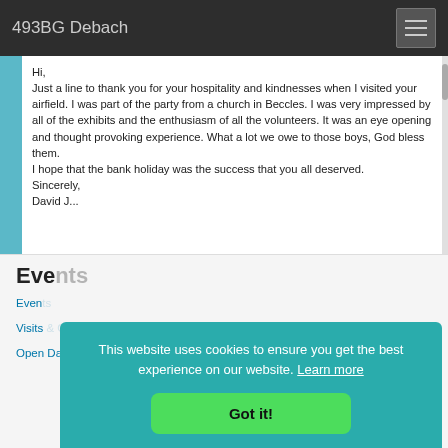493BG Debach
Hi,
Just a line to thank you for your hospitality and kindnesses when I visited your airfield. I was part of the party from a church in Beccles. I was very impressed by all of the exhibits and the enthusiasm of all the volunteers. It was an eye opening and thought provoking experience. What a lot we owe to those boys, God bless them.
I hope that the bank holiday was the success that you all deserved.
Sincerely,
David J...
Eve...
Events
Visits
Open Days
This website uses cookies to ensure you get the best experience on our website. Learn more
Got it!